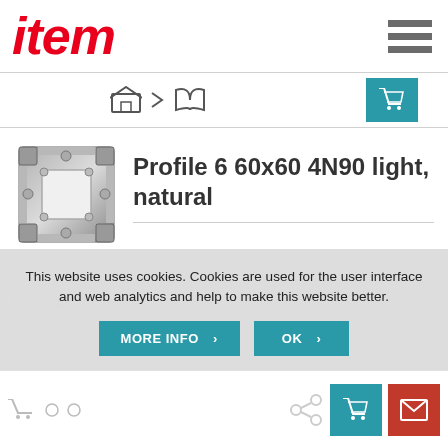item
[Figure (screenshot): Breadcrumb navigation icons with cart button]
[Figure (photo): Aluminium profile 6 60x60 4N90 light product photo]
Profile 6 60x60 4N90 light, natural
This website uses cookies. Cookies are used for the user interface and web analytics and help to make this website better.